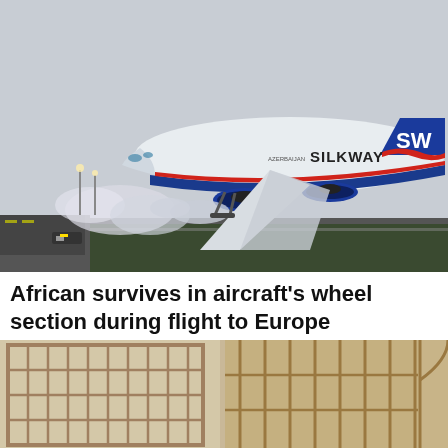[Figure (photo): A Silkway Airlines cargo Boeing 747 taking off or landing on a runway, with smoke from the landing gear. The aircraft is white with blue livery and the tail shows 'SW' logo with a red wave stripe. The fuselage reads 'AZERBAIJAN SILKWAY'.]
African survives in aircraft's wheel section during flight to Europe
Cairo News
[Figure (photo): Interior view of a building with large gridded windows and wooden/beige wall shelving or library shelves, showing a warm tan architectural interior.]